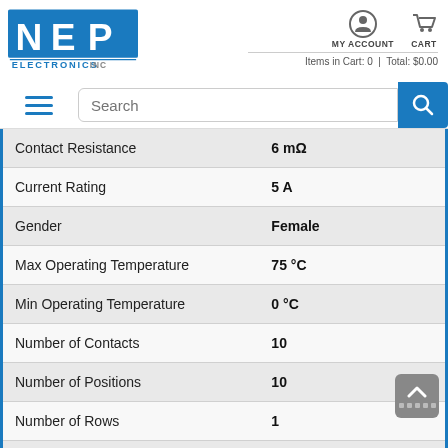[Figure (logo): NEP Electronics Inc logo in blue]
MY ACCOUNT  CART  Items in Cart: 0 | Total: $0.00
| Property | Value |
| --- | --- |
| Contact Resistance | 6 mΩ |
| Current Rating | 5 A |
| Gender | Female |
| Max Operating Temperature | 75 °C |
| Min Operating Temperature | 0 °C |
| Number of Contacts | 10 |
| Number of Positions | 10 |
| Number of Rows | 1 |
| Orientation | Straight |